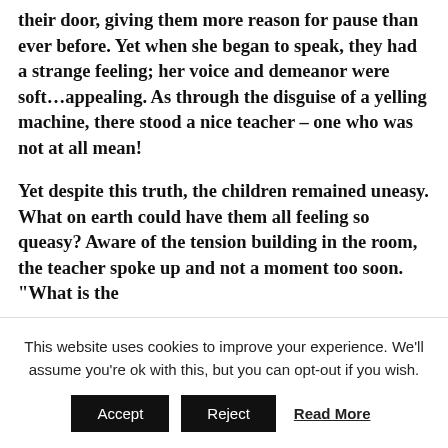their door, giving them more reason for pause than ever before. Yet when she began to speak, they had a strange feeling; her voice and demeanor were soft...appealing. As through the disguise of a yelling machine, there stood a nice teacher – one who was not at all mean!

Yet despite this truth, the children remained uneasy. What on earth could have them all feeling so queasy? Aware of the tension building in the room, the teacher spoke up and not a moment too soon. "What is the
This website uses cookies to improve your experience. We'll assume you're ok with this, but you can opt-out if you wish.